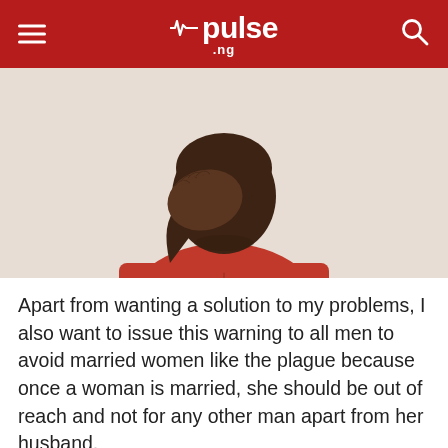pulse .ng
[Figure (photo): A Black man in a red jacket covering his face with his hand, appearing distressed, against a light beige background.]
Apart from wanting a solution to my problems, I also want to issue this warning to all men to avoid married women like the plague because once a woman is married, she should be out of reach and not for any other man apart from her husband.